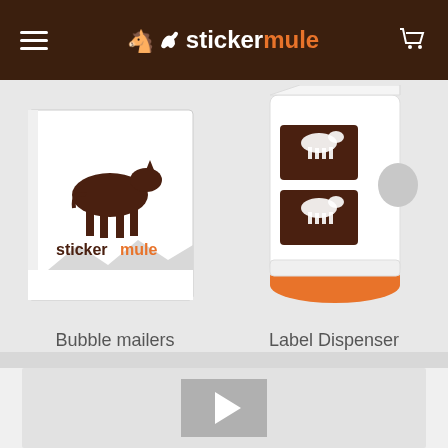stickermule
[Figure (illustration): Bubble mailer packaging with stickermule logo and mule illustration]
Bubble mailers
[Figure (illustration): Label dispenser device with brown sticker labels and orange base]
Label Dispenser
[Figure (other): Video player placeholder with gray background and play button triangle]